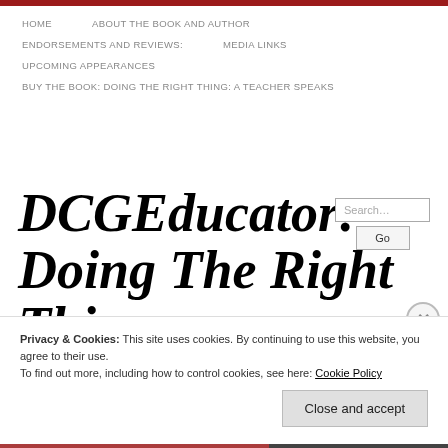HOME   ABOUT THE BOOK AND AUTHOR   ENDORSEMENTS AND REVIEWS:   MEDIA LINKS   UPCOMING APPEARANCES   BUY THE BOOK: DOING THE RIGHT THING: A TEACHER SPEAKS
DCGEducator: Doing The Right Thing ~ A Teacher Speaks
Privacy & Cookies: This site uses cookies. By continuing to use this website, you agree to their use.
To find out more, including how to control cookies, see here: Cookie Policy
Close and accept